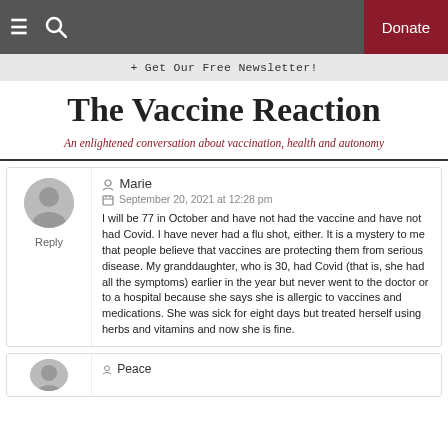≡ 🔍  Donate
+ Get Our Free Newsletter!
The Vaccine Reaction
An enlightened conversation about vaccination, health and autonomy
Marie
September 20, 2021 at 12:28 pm
I will be 77 in October and have not had the vaccine and have not had Covid. I have never had a flu shot, either. It is a mystery to me that people believe that vaccines are protecting them from serious disease. My granddaughter, who is 30, had Covid (that is, she had all the symptoms) earlier in the year but never went to the doctor or to a hospital because she says she is allergic to vaccines and medications. She was sick for eight days but treated herself using herbs and vitamins and now she is fine.
Peace